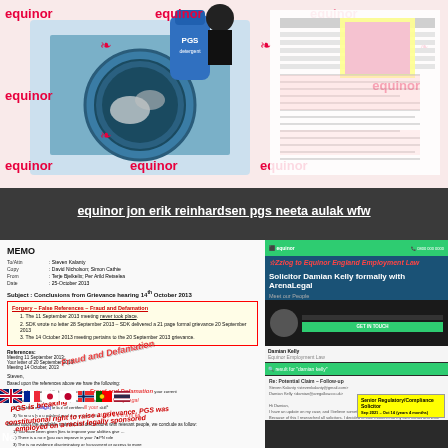[Figure (photo): Collage of equinor branding with washing machine, PGS detergent bottle, and document text backdrop. Red equinor logos repeated across background.]
equinor jon erik reinhardsen pgs neeta aulak wfw
[Figure (photo): Composite image showing a MEMO document addressed to Steven Kalanty regarding Conclusions from Grievance hearing 14th October 2013, overlaid with forgery/fraud annotations, flags, and an employment law solicitor website screenshot. Yellow box labeled 'Forgery – False References – Fraud and Defamation' with numbered points. Stamps reading 'Fraud and Defamation', 'PGS is breaking', 'legally sponsored'. Employment law website for Solicitor Damian Kelly visible on right. Various country flags shown at bottom.]